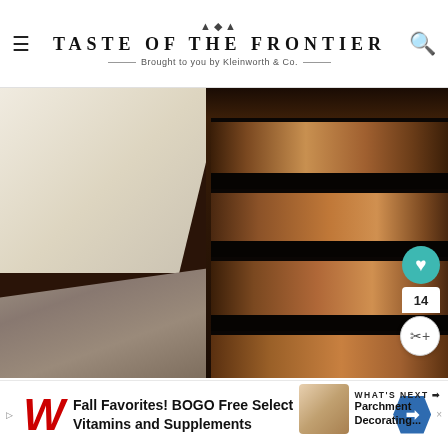TASTE OF THE FRONTIER — Brought to you by Kleinworth & Co.
[Figure (photo): Close-up photo of a rustic dark-stained wood pallet headboard next to a white pillow and gray carpet. The headboard shows horizontal wooden planks with dark gaps between them.]
I used the stain sample that was left with the house for the...
WHAT'S NEXT → Parchment Decorating...
[Figure (other): Advertisement banner: Fall Favorites! BOGO Free Select Vitamins and Supplements (Walgreens)]